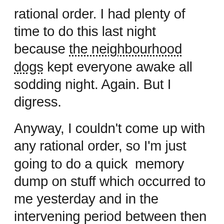rational order. I had plenty of time to do this last night because the neighbourhood dogs kept everyone awake all sodding night. Again. But I digress. Anyway, I couldn't come up with any rational order, so I'm just going to do a quick  memory dump on stuff which occurred to me yesterday and in the intervening period between then and now.
I'm angry. This is in marked contrast to when Bafana Bafana bowed out (which was essentially after their 0-3 to Uruguay)